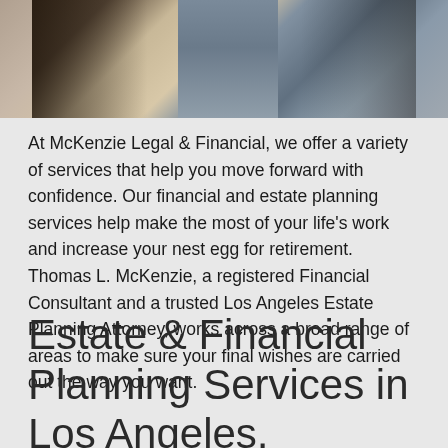[Figure (photo): Office interior photo showing a desk, marble/stone furniture piece, and office chair on a light floor]
At McKenzie Legal & Financial, we offer a variety of services that help you move forward with confidence. Our financial and estate planning services help make the most of your life's work and increase your nest egg for retirement. Thomas L. McKenzie, a registered Financial Consultant and a trusted Los Angeles Estate Planning Attorney, works across a broad range of areas to make sure your final wishes are carried out the way you want.
Estate & Financial Planning Services in Los Angeles, California